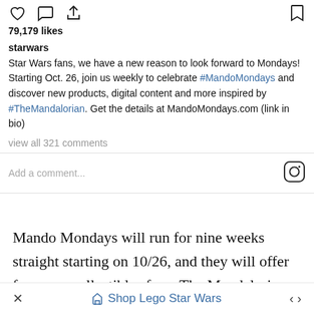79,179 likes
starwars
Star Wars fans, we have a new reason to look forward to Mondays! Starting Oct. 26, join us weekly to celebrate #MandoMondays and discover new products, digital content and more inspired by #TheMandalorian. Get the details at MandoMondays.com (link in bio)
view all 321 comments
Add a comment...
Mando Mondays will run for nine weeks straight starting on 10/26, and they will offer fans new collectibles from The Mandalorian. It sounds like after each new episode, the following Mando Monday
Shop Lego Star Wars